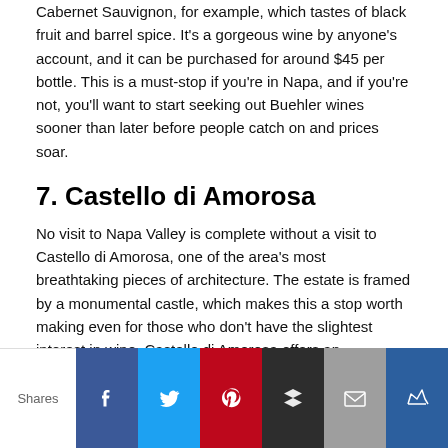Cabernet Sauvignon, for example, which tastes of black fruit and barrel spice. It's a gorgeous wine by anyone's account, and it can be purchased for around $45 per bottle. This is a must-stop if you're in Napa, and if you're not, you'll want to start seeking out Buehler wines sooner than later before people catch on and prices soar.
7. Castello di Amorosa
No visit to Napa Valley is complete without a visit to Castello di Amorosa, one of the area's most breathtaking pieces of architecture. The estate is framed by a monumental castle, which makes this a stop worth making even for those who don't have the slightest interest in wine. Castello di Amorosa offers an impressive amount of different types of wine, though the best value can likely be found in their 2013 Zingaro Old Vine Zinfandel. At around $40 per bottle, this Zin benefits from the cool climate of the Russian River Valley in its bright, peppery mouthfeel and notes of deep red berries. It's the perfect place to take a family, but if you're unable to make it to Castello di Amorosa's gorgeous physical location, you'll
[Figure (infographic): Social sharing bar with Shares label and buttons for Facebook, Twitter, Pinterest, Buffer, Email, and Crown/Flipboard]